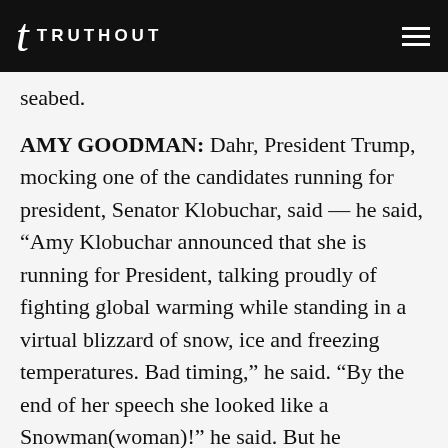TRUTHOUT
seabed.
AMY GOODMAN: Dahr, President Trump, mocking one of the candidates running for president, Senator Klobuchar, said — he said, “Amy Klobuchar announced that she is running for President, talking proudly of fighting global warming while standing in a virtual blizzard of snow, ice and freezing temperatures. Bad timing,” he said. “By the end of her speech she looked like a Snowman(woman)!” he said. But he continually repeats this issue, the issue of